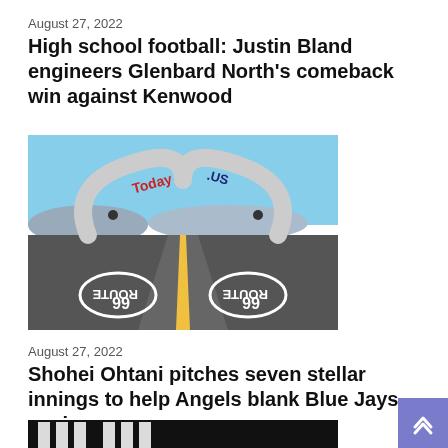August 27, 2022
High school football: Justin Bland engineers Glenbard North's comeback win against Kenwood
[Figure (photo): A Route 66 highway with an inflatable arch over the road, reading 'Today.US', with Route 66 markings painted on the asphalt, desert landscape in background.]
August 27, 2022
Shohei Ohtani pitches seven stellar innings to help Angels blank Blue Jays again
[Figure (photo): Dark background with white vertical bar/stripe patterns, partially visible at bottom of page.]